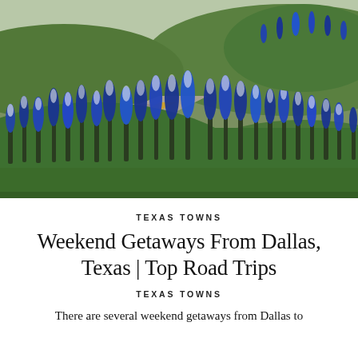[Figure (photo): Photograph of a curving road lined with Texas bluebonnet wildflowers in bloom, with green hills in the background]
TEXAS TOWNS
Weekend Getaways From Dallas, Texas | Top Road Trips
TEXAS TOWNS
There are several weekend getaways from Dallas to